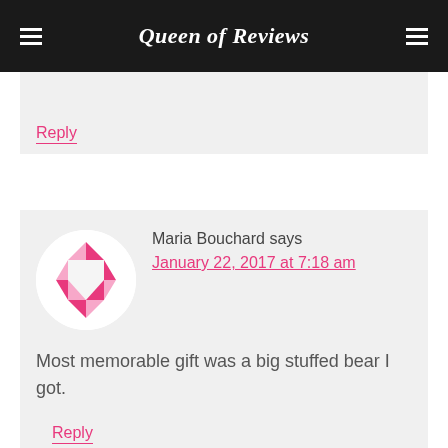Queen of Reviews
Reply
Maria Bouchard says
January 22, 2017 at 7:18 am
Most memorable gift was a big stuffed bear I got.
Reply